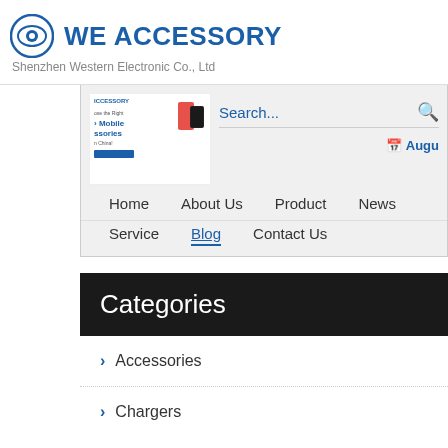[Figure (logo): WE ACCESSORY logo with eye icon and company name]
Shenzhen Western Electronic Co., Ltd
[Figure (screenshot): Website navigation banner with mobile accessories image, Search bar, August date, and navigation links: Home, About Us, Product, News, Service, Blog (active), Contact Us]
Categories
Accessories
Chargers